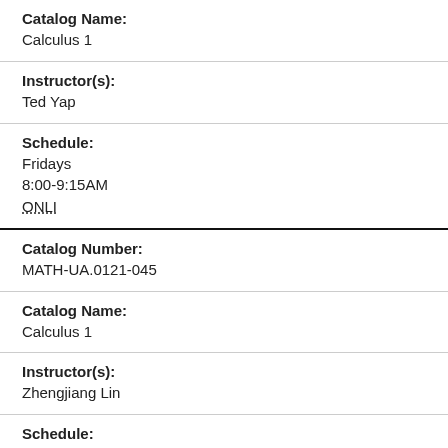Catalog Name:
Calculus 1
Instructor(s):
Ted Yap
Schedule:
Fridays
8:00-9:15AM
ONLI
Catalog Number:
MATH-UA.0121-045
Catalog Name:
Calculus 1
Instructor(s):
Zhengjiang Lin
Schedule:
Fridays
8:00-9:15AM